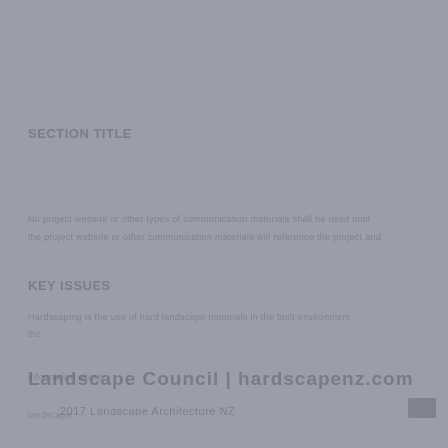[Figure (other): Gray background page with faint watermark text overlaid, showing partial text fragments that appear to be a URL or copyright notice related to 'hardscapenz.com' and other partially visible text lines. The page appears to be a low-contrast scan or placeholder page.]